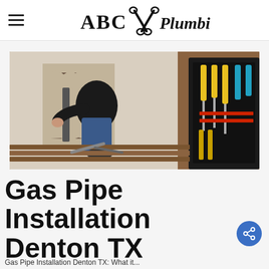[Figure (logo): ABC Plumbing logo with crossed wrenches icon and text 'ABC Plumbing' in serif/script font]
[Figure (photo): A plumber or technician crouching and working near a wall opening, with a black tool case containing screwdrivers and other tools visible on the right]
Gas Pipe Installation Denton TX
Gas Pipe Installation Denton TX: What it...